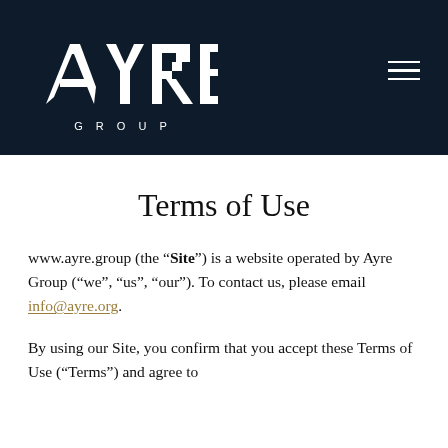[Figure (logo): Ayre Group logo — white stylized letters AYRE with horizontal lines on dark navy background, with GROUP in spaced capitals below]
Terms of Use
www.ayre.group (the “Site”) is a website operated by Ayre Group (“we”, “us”, “our”). To contact us, please email info@ayre.org.
By using our Site, you confirm that you accept these Terms of Use (“Terms”) and agree to...